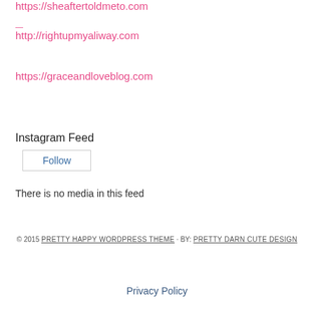https://sheaftertoldmeto.com
http://rightupmyaliway.com
https://graceandloveblog.com
Instagram Feed
Follow
There is no media in this feed
© 2015 PRETTY HAPPY WORDPRESS THEME · BY: PRETTY DARN CUTE DESIGN
Privacy Policy